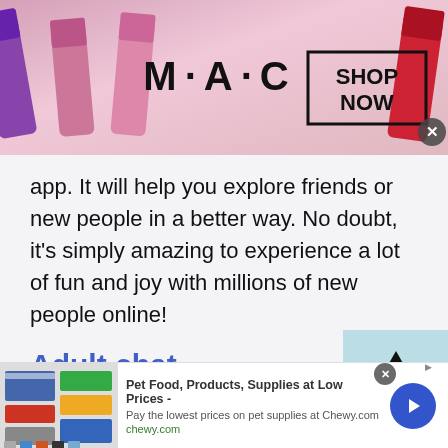[Figure (screenshot): MAC Cosmetics advertisement banner showing lipsticks in purple, pink, and red colors, with MAC logo text and a 'SHOP NOW' box with border, and a close (x) button in bottom-right corner]
app. It will help you explore friends or new people in a better way. No doubt, it's simply amazing to experience a lot of fun and joy with millions of new people online!
Adult chat
Adult chat is all open for men and women who want to chit chat and learn new things via free online chat. Talk to strangers in Chad at Talkwithstranger men
[Figure (screenshot): Chewy.com advertisement showing pet food products with title 'Pet Food, Products, Supplies at Low Prices -', description 'Pay the lowest prices on pet supplies at Chewy.com', URL 'chewy.com', product images on left, and a blue circular arrow button on right, with close button and AdChoices icon]